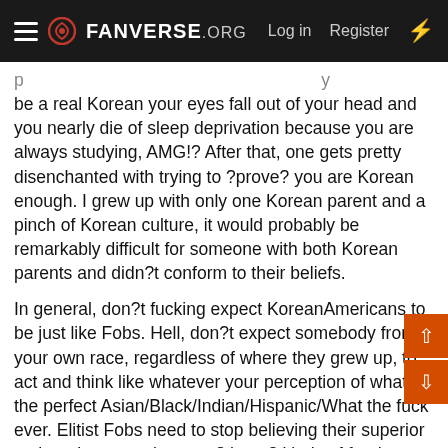FANVERSE.ORG  Log in  Register
be a real Korean your eyes fall out of your head and you nearly die of sleep deprivation because you are always studying, AMG!? After that, one gets pretty disenchanted with trying to ?prove? you are Korean enough. I grew up with only one Korean parent and a pinch of Korean culture, it would probably be remarkably difficult for someone with both Korean parents and didn?t conform to their beliefs.
In general, don?t fucking expect KoreanAmericans to be just like Fobs. Hell, don?t expect somebody from your own race, regardless of where they grew up, to act and think like whatever your perception of what the perfect Asian/Black/Indian/Hispanic/What the fuck ever. Elitist Fobs need to stop believing their superior to them because they eat ?these? kinds of foods, watch ?these? kind of shitty, overly whiney Korean dramas (I didn?t watch them when I was in Korea, why should I like them now? Arughsadasda), believe in ?these? kind of things, etc. Being more ?Korean? doesn?t